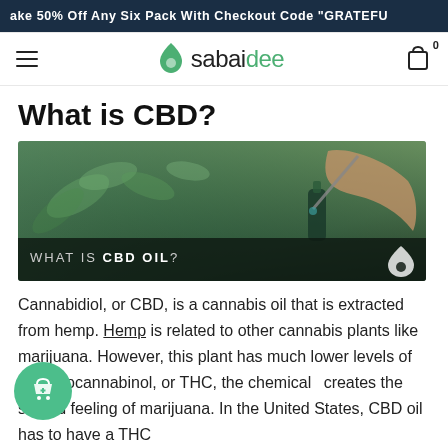ake 50% Off Any Six Pack With Checkout Code "GRATEFU
[Figure (logo): Sabaidee brand logo with green droplet icon and text 'sabaidee']
What is CBD?
[Figure (photo): Hero image showing a hand holding a dropper over a dark glass bottle with green cannabis plants in background. Overlay text reads 'WHAT IS CBD OIL?' with a drop icon logo.]
Cannabidiol, or CBD, is a cannabis oil that is extracted from hemp. Hemp is related to other cannabis plants like marijuana. However, this plant has much lower levels of hydrocannabinol, or THC, the chemical creates the stoned feeling of marijuana. In the United States, CBD oil has to have a THC